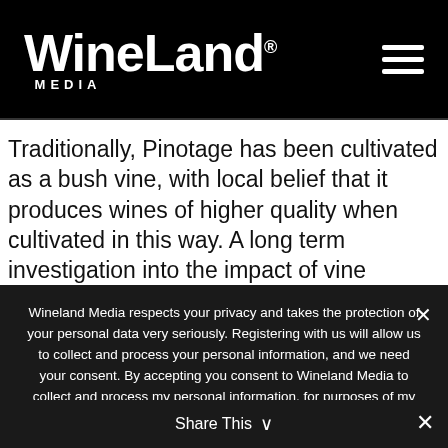WineLand Media
Traditionally, Pinotage has been cultivated as a bush vine, with local belief that it produces wines of higher quality when cultivated in this way. A long term investigation into the impact of vine training (bush vine versus vertical shoot positioning – VSP) on Pinotage wine quality displayed no consistent trends regarding this perceived relationship (Van Schalkwyk & Schmidt, 2009a, 2009b, 2009c, 2009d), rather pointing to vineyard site,
Wineland Media respects your privacy and takes the protection of your personal data very seriously. Registering with us will allow us to collect and process your personal information, and we need your consent. By accepting you consent to Wineland Media to collect and process my personal information, for purposes of my application.
View Privacy Policy
Share This